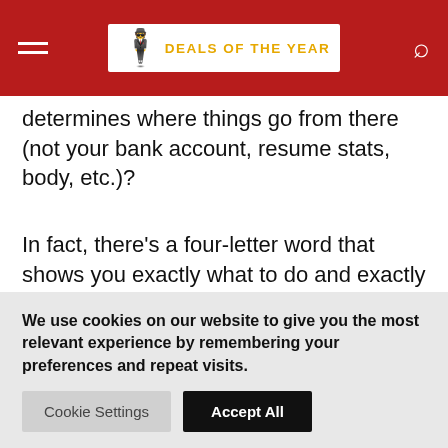DEALS OF THE YEAR
determines where things go from there (not your bank account, resume stats, body, etc.)?
In fact, there’s a four-letter word that shows you exactly what to do and exactly what not to do at all times to make her want you: If you do what it says, she’s yours…if you don’t, you’ll drive her away guaranteed.
We use cookies on our website to give you the most relevant experience by remembering your preferences and repeat visits.